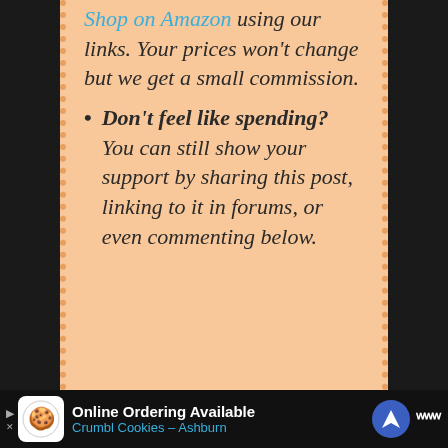Shop on Amazon using our links. Your prices won't change but we get a small commission.
Don't feel like spending? You can still show your support by sharing this post, linking to it in forums, or even commenting below.
[Figure (screenshot): Advertisement bar at bottom: Online Ordering Available, Crumbl Cookies - Ashburn]